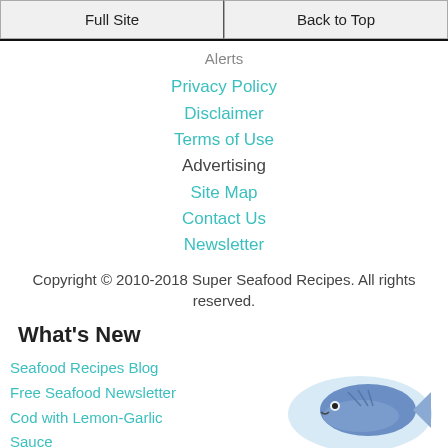Full Site | Back to Top
Privacy Policy
Disclaimer
Terms of Use
Advertising
Site Map
Contact Us
Newsletter
Copyright © 2010-2018 Super Seafood Recipes. All rights reserved.
What's New
Seafood Recipes Blog
Free Seafood Newsletter
Cod with Lemon-Garlic Sauce
[Figure (illustration): Illustration of a fish on a plate/oval dish, blue fish with eye visible on a light blue oval background]
Subscribe